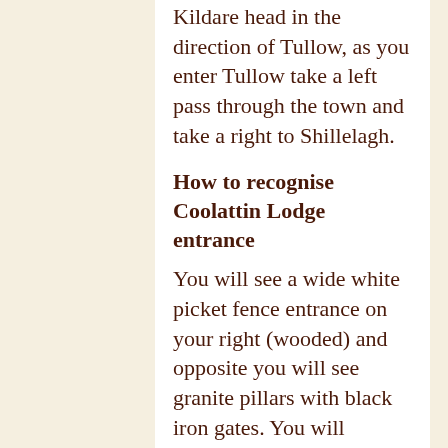Kildare head in the direction of Tullow, as you enter Tullow take a left pass through the town and take a right to Shillelagh.
How to recognise Coolattin Lodge entrance
You will see a wide white picket fence entrance on your right (wooded) and opposite you will see granite pillars with black iron gates. You will recognise Coolattin Lodge as a large granite house with a distinctive round window in the pediment. A high round chimney will be visible behind the courtyard buildings.
Distances from:
1hr20m from Dublin and similar